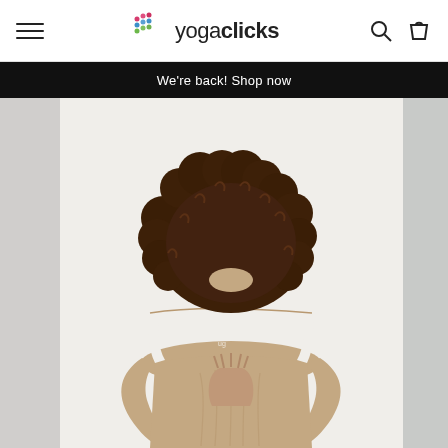yogaclicks — navigation header with hamburger menu, logo, search and cart icons
We're back! Shop now
[Figure (photo): A woman photographed from behind in a yoga prayer pose (reverse namaste / Anjali mudra behind the back), wearing a tan/beige sleeveless yoga top, with voluminous curly dark brown hair. The background is plain light grey/white. Partial images of other yogis visible at left and right edges, suggesting a carousel layout.]